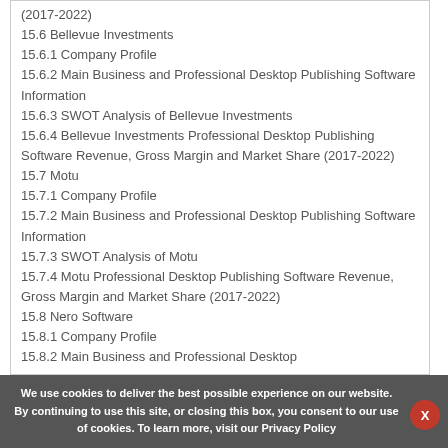(2017-2022)
15.6 Bellevue Investments
15.6.1 Company Profile
15.6.2 Main Business and Professional Desktop Publishing Software Information
15.6.3 SWOT Analysis of Bellevue Investments
15.6.4 Bellevue Investments Professional Desktop Publishing Software Revenue, Gross Margin and Market Share (2017-2022)
15.7 Motu
15.7.1 Company Profile
15.7.2 Main Business and Professional Desktop Publishing Software Information
15.7.3 SWOT Analysis of Motu
15.7.4 Motu Professional Desktop Publishing Software Revenue, Gross Margin and Market Share (2017-2022)
15.8 Nero Software
15.8.1 Company Profile
15.8.2 Main Business and Professional Desktop
We use cookies to deliver the best possible experience on our website. By continuing to use this site, or closing this box, you consent to our use of cookies. To learn more, visit our Privacy Policy